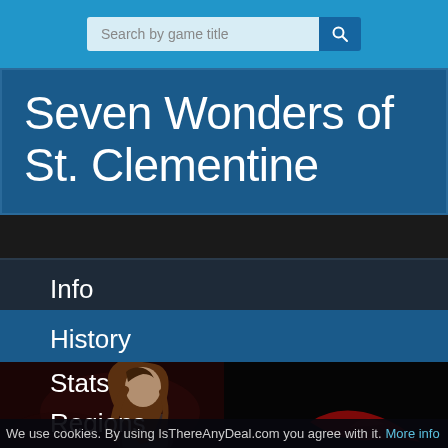Search by game title
Seven Wonders of St. Clementine
Info
History
Stats
Regions
[Figure (illustration): Anime-style illustration of a dark-haired character against a dark red background]
We use cookies. By using IsThereAnyDeal.com you agree with it. More info